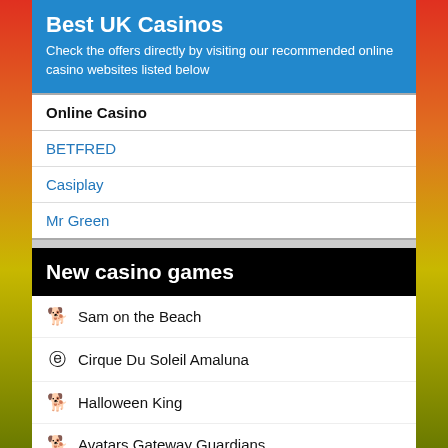Best UK Casinos
Check the offers directly by visiting our recommended online casino websites listed below
| Online Casino |
| --- |
| BETFRED |
| Casiplay |
| Mr Green |
New casino games
Sam on the Beach
Cirque Du Soleil Amaluna
Halloween King
Avatars Gateway Guardians
Hit 40 Slot
Gold Volcano